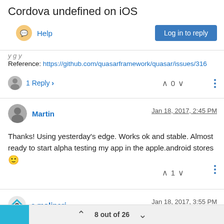Cordova undefined on iOS
Help
Log in to reply
Reference: https://github.com/quasarframework/quasar/issues/316
1 Reply > 0
Martin Jan 18, 2017, 2:45 PM
Thanks! Using yesterday's edge. Works ok and stable. Almost ready to start alpha testing my app in the apple.android stores 🙂
1
s.molinari Jan 18, 2017, 3:55 PM
8 out of 26